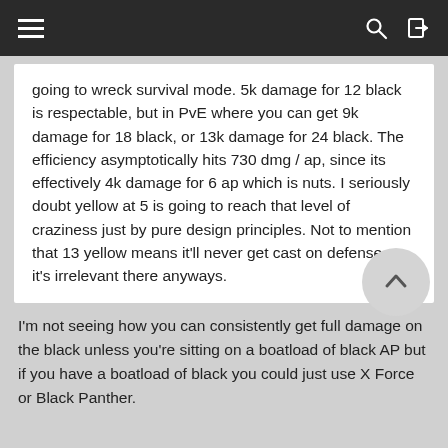going to wreck survival mode. 5k damage for 12 black is respectable, but in PvE where you can get 9k damage for 18 black, or 13k damage for 24 black. The efficiency asymptotically hits 730 dmg / ap, since its effectively 4k damage for 6 ap which is nuts. I seriously doubt yellow at 5 is going to reach that level of craziness just by pure design principles. Not to mention that 13 yellow means it'll never get cast on defense so it's irrelevant there anyways.
I'm not seeing how you can consistently get full damage on the black unless you're sitting on a boatload of black AP but if you have a boatload of black you could just use X Force or Black Panther.